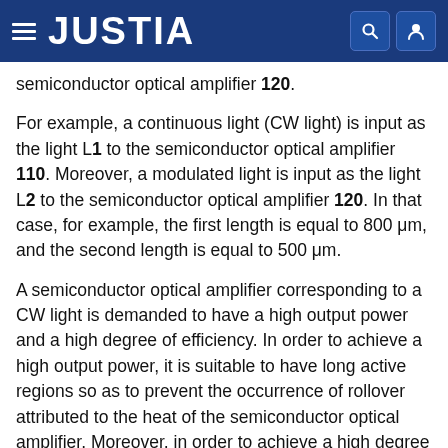JUSTIA
semiconductor optical amplifier 120.
For example, a continuous light (CW light) is input as the light L1 to the semiconductor optical amplifier 110. Moreover, a modulated light is input as the light L2 to the semiconductor optical amplifier 120. In that case, for example, the first length is equal to 800 μm, and the second length is equal to 500 μm.
A semiconductor optical amplifier corresponding to a CW light is demanded to have a high output power and a high degree of efficiency. In order to achieve a high output power, it is suitable to have long active regions so as to prevent the occurrence of rollover attributed to the heat of the semiconductor optical amplifier. Moreover, in order to achieve a high degree of efficiency, it is suitable that the semiconductor optical amplifier...